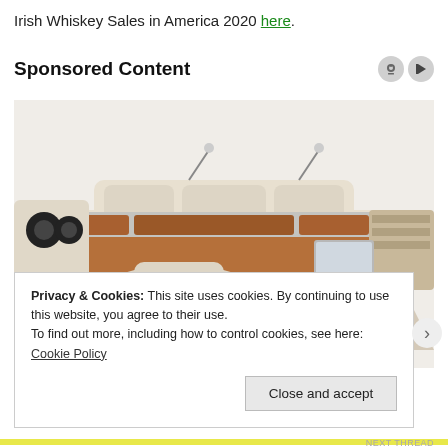Irish Whiskey Sales in America 2020 here.
Sponsored Content
[Figure (photo): A luxury multi-functional smart bed with integrated speakers, massage chair, storage drawers, laptop stand, reading lamps, and shelving components in cream/beige color.]
Privacy & Cookies: This site uses cookies. By continuing to use this website, you agree to their use.
To find out more, including how to control cookies, see here: Cookie Policy
Close and accept